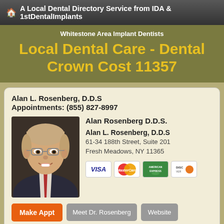A Local Dental Directory Service from IDA & 1stDentalImplants
Local Dental Care - Dental Crown Cost 11357
Whitestone Area Implant Dentists
Alan L. Rosenberg, D.D.S
Appointments: (855) 827-8997
[Figure (photo): Portrait photo of Alan L. Rosenberg, D.D.S., a middle-aged man with glasses and light hair, wearing a suit with a red tie, smiling.]
Alan Rosenberg D.D.S.
Alan L. Rosenberg, D.D.S
61-34 188th Street, Suite 201
Fresh Meadows, NY 11365
[Figure (other): Payment method icons: VISA, MasterCard, American Express (green), Discover]
Make Appt
Meet Dr. Rosenberg
Website
more info ...